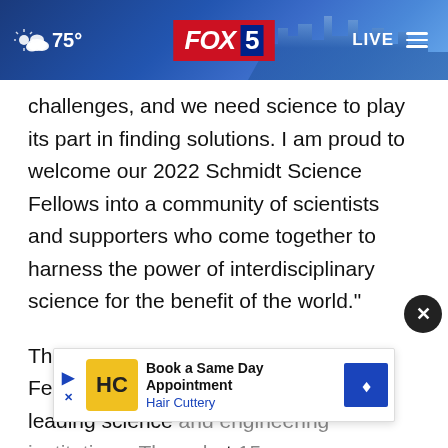FOX 5 | 75° | LIVE
challenges, and we need science to play its part in finding solutions. I am proud to welcome our 2022 Schmidt Science Fellows into a community of scientists and supporters who come together to harness the power of interdisciplinary science for the benefit of the world."
The 2022 cohort of Schmidt Science Fellows comes from 23 of the world's leading science and engineering institutions. The cohort 15 wom
[Figure (screenshot): Hair Cuttery advertisement banner: 'Book a Same Day Appointment' with HC logo and navigation arrow icon]